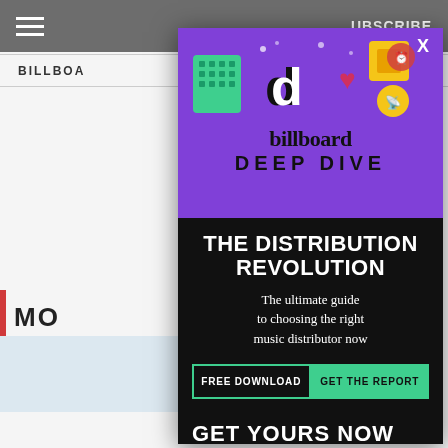≡   UBSCRIBE
BILLBOA   EATURE
[Figure (screenshot): Billboard Deep Dive advertisement modal overlay on a website. Purple top section with TikTok and social media icons illustration, billboard logo and DEEP DIVE text. Black lower section with title THE DISTRIBUTION REVOLUTION, subtitle The ultimate guide to choosing the right music distributor now, and buttons FREE DOWNLOAD and GET THE REPORT. Bottom band shows GET YOURS NOW text.]
THE DISTRIBUTION REVOLUTION
The ultimate guide to choosing the right music distributor now
FREE DOWNLOAD
GET THE REPORT
GET YOURS NOW